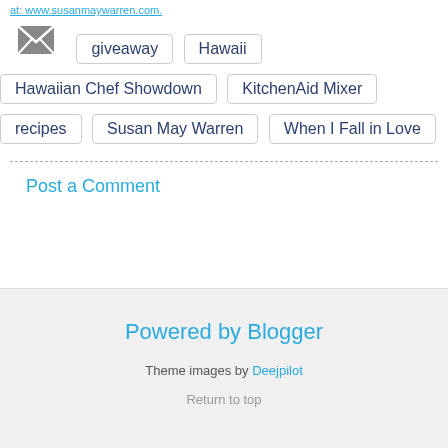at: www.susanmaywarren.com.
[Figure (other): Email/envelope icon button]
giveaway
Hawaii
Hawaiian Chef Showdown
KitchenAid Mixer
recipes
Susan May Warren
When I Fall in Love
Post a Comment
Powered by Blogger
Theme images by Deejpilot